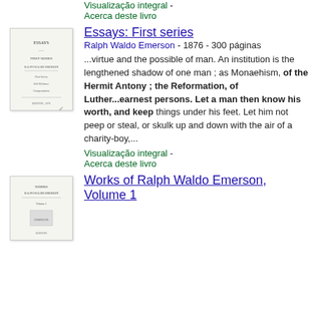Visualização integral - Acerca deste livro
Essays: First series
Ralph Waldo Emerson - 1876 - 300 páginas
...virtue and the possible of man. An institution is the lengthened shadow of one man ; as Monaehism, of the Hermit Antony ; the Reformation, of Luther...earnest persons. Let a man then know his worth, and keep things under his feet. Let him not peep or steal, or skulk up and down with the air of a charity-boy,...
Visualização integral - Acerca deste livro
Works of Ralph Waldo Emerson, Volume 1